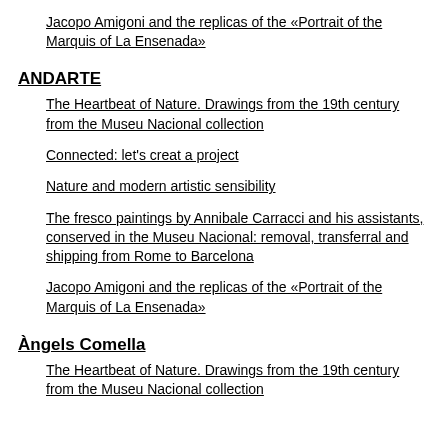and his assistants, conserved in the Museu Nacional: removal, transferral and shipping from Rome to Barcelona
Jacopo Amigoni and the replicas of the «Portrait of the Marquis of La Ensenada»
ANDARTE
The Heartbeat of Nature. Drawings from the 19th century from the Museu Nacional collection
Connected: let's creat a project
Nature and modern artistic sensibility
The fresco paintings by Annibale Carracci and his assistants, conserved in the Museu Nacional: removal, transferral and shipping from Rome to Barcelona
Jacopo Amigoni and the replicas of the «Portrait of the Marquis of La Ensenada»
Àngels Comella
The Heartbeat of Nature. Drawings from the 19th century from the Museu Nacional collection